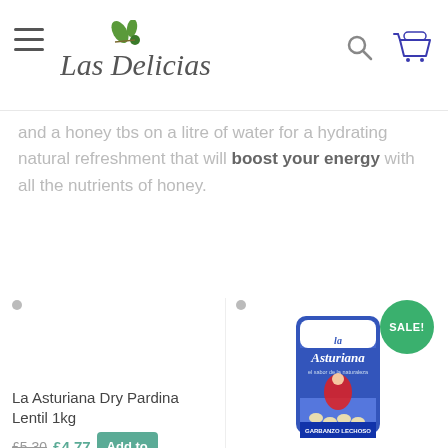Las Delicias
and a honey tbs on a litre of water for a hydrating natural refreshment that will boost your energy with all the nutrients of honey.
[Figure (photo): La Asturiana Garbanzo Lechoso product bag with Sale badge]
La Asturiana Dry Pardina Lentil 1kg
£5.30 £4.77 Add to
Garbanzo blanco lechoso seco – Dry blanco lechoso chickpea 500g